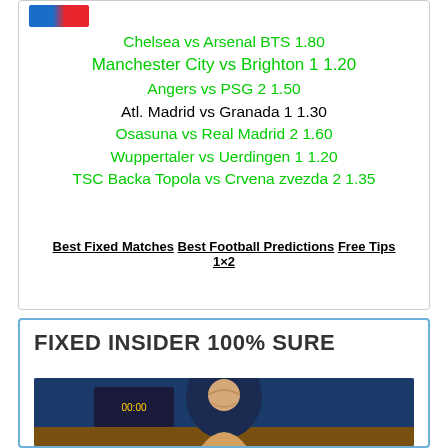Chelsea vs Arsenal BTS 1.80
Manchester City vs Brighton 1 1.20
Angers vs PSG 2 1.50
Atl. Madrid vs Granada 1 1.30
Osasuna vs Real Madrid 2 1.60
Wuppertaler vs Uerdingen 1 1.20
TSC Backa Topola vs Crvena zvezda 2 1.35
Best Fixed Matches Best Football Predictions Free Tips 1×2
FIXED INSIDER 100% SURE
[Figure (photo): Photo of a football player (appears to be Lewandowski) celebrating, with a scoreboard visible in the background]